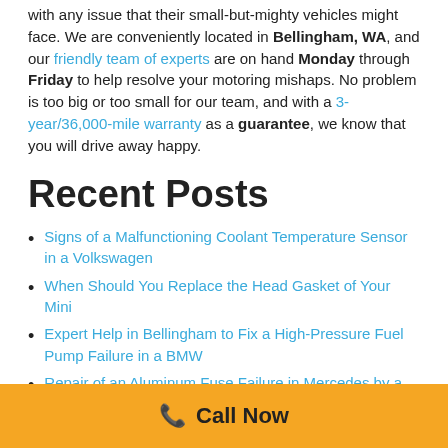with any issue that their small-but-mighty vehicles might face. We are conveniently located in Bellingham, WA, and our friendly team of experts are on hand Monday through Friday to help resolve your motoring mishaps. No problem is too big or too small for our team, and with a 3-year/36,000-mile warranty as a guarantee, we know that you will drive away happy.
Recent Posts
Signs of a Malfunctioning Coolant Temperature Sensor in a Volkswagen
When Should You Replace the Head Gasket of Your Mini
Expert Help in Bellingham to Fix a High-Pressure Fuel Pump Failure in a BMW
Repair of an Aluminum Fuse Failure in Mercedes by a Certified Mechanic in Bellingham
The Best Repair Shop in Bellingham to Fix a High-Pressure Fuel Pump Failure in Mini
Call Now